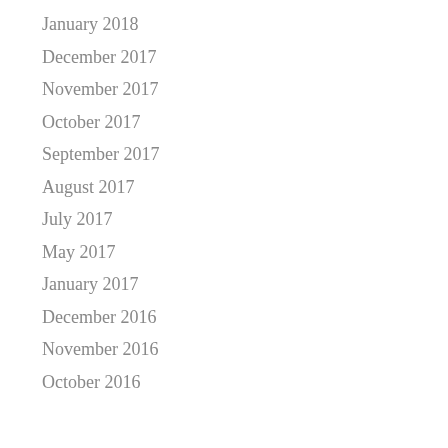January 2018
December 2017
November 2017
October 2017
September 2017
August 2017
July 2017
May 2017
January 2017
December 2016
November 2016
October 2016